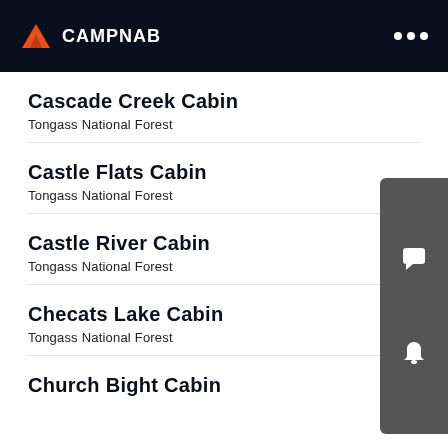CAMPNAB
Cascade Creek Cabin
Tongass National Forest
Castle Flats Cabin
Tongass National Forest
Castle River Cabin
Tongass National Forest
Checats Lake Cabin
Tongass National Forest
Church Bight Cabin